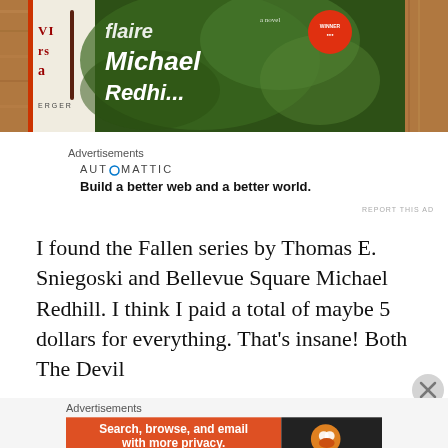[Figure (photo): Photo of book covers on a wooden surface, showing partial text including 'Michael' and author name 'Redhill', with a decorative spine on the left side]
Advertisements
AUTOMATTIC
Build a better web and a better world.
REPORT THIS AD
I found the Fallen series by Thomas E. Sniegoski and Bellevue Square Michael Redhill. I think I paid a total of maybe 5 dollars for everything. That's insane! Both The Devil
Advertisements
[Figure (screenshot): DuckDuckGo advertisement banner: 'Search, browse, and email with more privacy. All in One Free App' with DuckDuckGo logo on dark background]